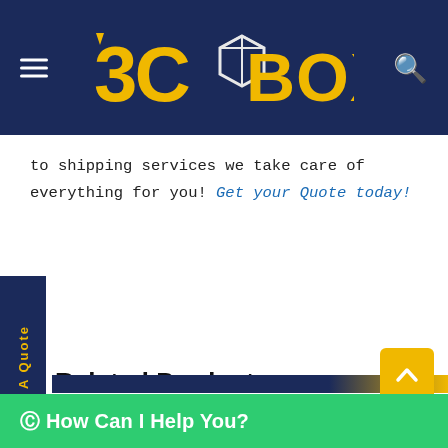3C BOXES
to shipping services we take care of everything for you! Get your Quote today!
[Figure (other): Vertical side tab with 'Get A Quote' text rotated, dark navy background with yellow text]
Related Product
[Figure (other): Yellow back-to-top arrow button in bottom right corner]
How Can I Help You? (WhatsApp chat widget, green bar at bottom)